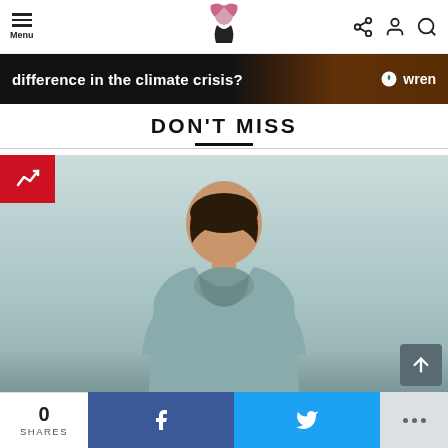Menu | [Logo] | [Share] [Account] [Search]
[Figure (screenshot): Advertisement banner with text 'difference in the climate crisis?' and 'wren' branding on dark background with fire imagery]
DON'T MISS
[Figure (photo): Person sitting hunched over with head down, wearing an oversized hoodie, viewed from behind, teal-toned photo]
0 SHARES | [Facebook share] | [Twitter share] | [More options]